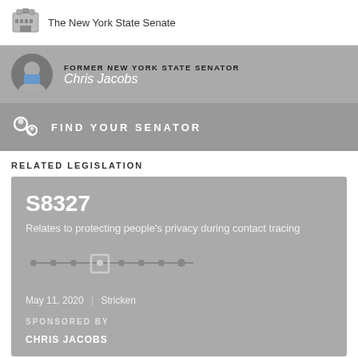The New York State Senate
FORMER NEW YORK STATE SENATOR Chris Jacobs
FIND YOUR SENATOR
RELATED LEGISLATION
S8327
Relates to protecting people's privacy during contact tracing
May 11, 2020 | Stricken
SPONSORED BY
CHRIS JACOBS